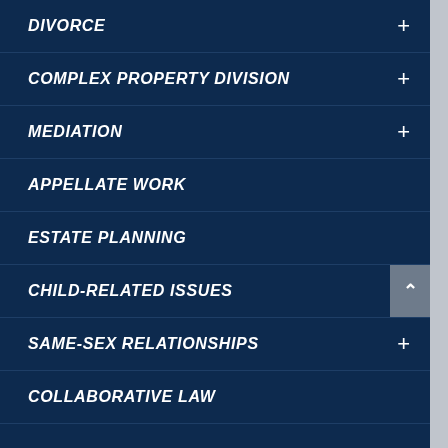DIVORCE
COMPLEX PROPERTY DIVISION
MEDIATION
APPELLATE WORK
ESTATE PLANNING
CHILD-RELATED ISSUES
SAME-SEX RELATIONSHIPS
COLLABORATIVE LAW